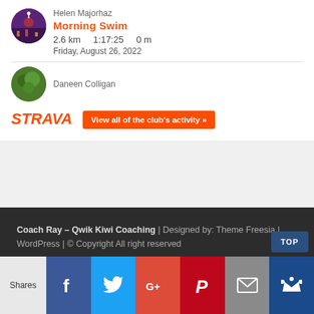Helen Majorhaz
Morning Swim
2.6 km    1:17:25    0 m
Friday, August 26, 2022
Daneen Colligan
[Figure (logo): STRAVA logo in orange italic bold text]
View all of the club's activity »
Coach Ray – Qwik Kiwi Coaching | Designed by: Theme Freesia | WordPress | © Copyright All right reserved
TOP
Shares